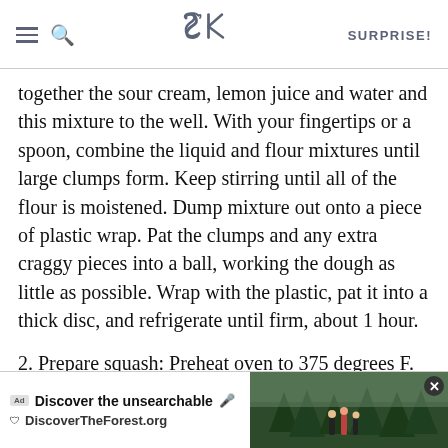SK — SURPRISE!
together the sour cream, lemon juice and water and this mixture to the well. With your fingertips or a spoon, combine the liquid and flour mixtures until large clumps form. Keep stirring until all of the flour is moistened. Dump mixture out onto a piece of plastic wrap. Pat the clumps and any extra craggy pieces into a ball, working the dough as little as possible. Wrap with the plastic, pat it into a thick disc, and refrigerate until firm, about 1 hour.
2. Prepare squash: Preheat oven to 375 degrees F. Peel squash, then halve and scoop out seeds. Cut into a 1/2-inch dice. Toss pieces with olive oil and a half-teaspoon of the salt, a generous pinch of dill (if leftness sake) s...der,
[Figure (screenshot): Advertisement overlay for DiscoverTheForest.org showing 'Discover the unsearchable' with a forest photo and close button]